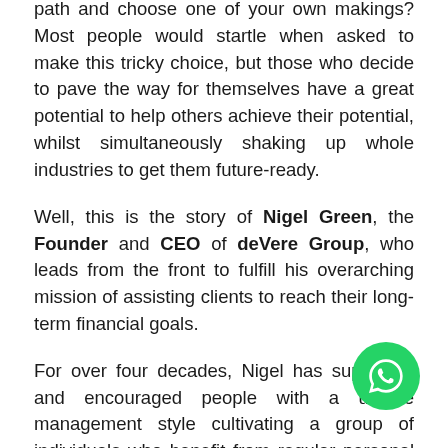path and choose one of your own makings? Most people would startle when asked to make this tricky choice, but those who decide to pave the way for themselves have a great potential to help others achieve their potential, whilst simultaneously shaking up whole industries to get them future-ready.
Well, this is the story of Nigel Green, the Founder and CEO of deVere Group, who leads from the front to fulfill his overarching mission of assisting clients to reach their long-term financial goals.
For over four decades, Nigel has supported and encouraged people with a unique management style cultivating a group of individuals who benefit from regular personal contact right from the top.
Insights Success caught up with Nigel and talked about